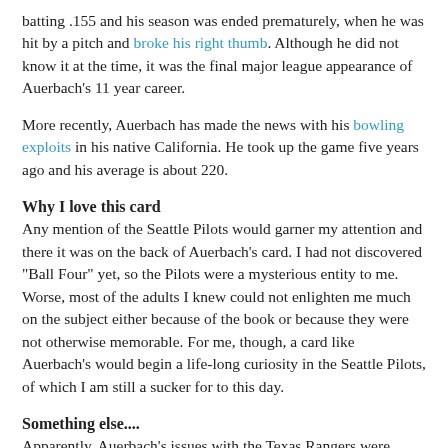batting .155 and his season was ended prematurely, when he was hit by a pitch and broke his right thumb. Although he did not know it at the time, it was the final major league appearance of Auerbach's 11 year career.
More recently, Auerbach has made the news with his bowling exploits in his native California. He took up the game five years ago and his average is about 220.
Why I love this card
Any mention of the Seattle Pilots would garner my attention and there it was on the back of Auerbach's card. I had not discovered "Ball Four" yet, so the Pilots were a mysterious entity to me. Worse, most of the adults I knew could not enlighten me much on the subject either because of the book or because they were not otherwise memorable. For me, though, a card like Auerbach's would begin a life-long curiosity in the Seattle Pilots, of which I am still a sucker for to this day.
Something else....
Apparently, Auerbach's issues with the Texas Rangers were